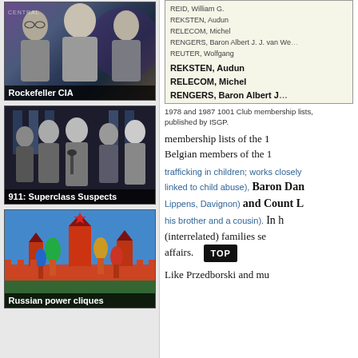[Figure (photo): Black and white photo of three men associated with Rockefeller CIA, with caption bar 'Rockefeller CIA']
[Figure (photo): Black and white photo of several men, labeled '911: Superclass Suspects']
[Figure (photo): Color photo of Russian Kremlin architecture, labeled 'Russian power cliques']
[Figure (table-as-image): Scanned membership list showing names: REID William G., REKSTEN Audun, RELECOM Michel, RENGERS Baron Albert J. J. van We-, REUTER Wolfgang, REKSTEN Audun (larger), RELECOM Michel (larger), RENGERS Baron Albert J. (larger), REUTER Wolfgang (larger), REYNAL Guillermo (larger), REYNAL Juan (partial, larger)]
1978 and 1987 1001 Club membership lists, published by ISGP.
membership lists of the 1001 Club Belgian members of the 1001
trafficking in children; works closely linked to child abuse), Baron Dan (Lippens, Davignon) and Count L his brother and a cousin). In h (interrelated) families se affairs.
Like Przedborski and mu